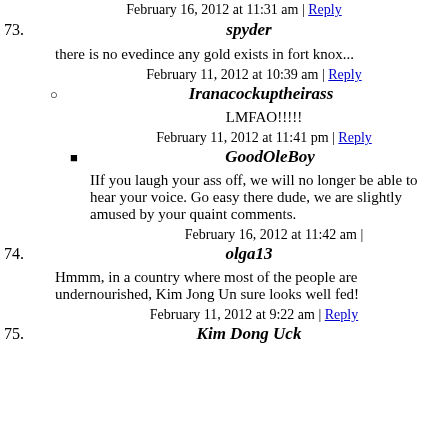February 16, 2012 at 11:31 am | Reply
73. spyder
there is no evedince any gold exists in fort knox...
February 11, 2012 at 10:39 am | Reply
Iranacockuptheirass
LMFAO!!!!!
February 11, 2012 at 11:41 pm | Reply
GoodOleBoy
IIf you laugh your ass off, we will no longer be able to hear your voice. Go easy there dude, we are slightly amused by your quaint comments.
February 16, 2012 at 11:42 am |
74. olga13
Hmmm, in a country where most of the people are undernourished, Kim Jong Un sure looks well fed!
February 11, 2012 at 9:22 am | Reply
75. Kim Dong Uck